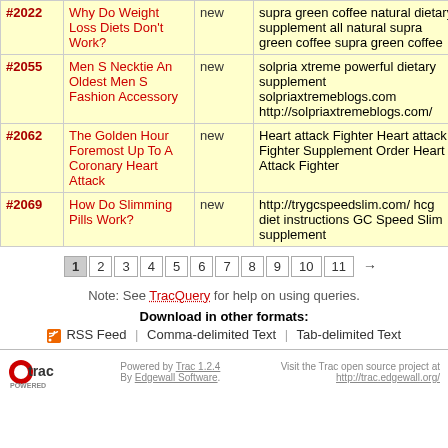| # | Title | Type | Description | More |
| --- | --- | --- | --- | --- |
| #2022 | Why Do Weight Loss Diets Don't Work? | new | supra green coffee natural dietary supplement all natural supra green coffee supra green coffee | so… |
| #2055 | Men S Necktie An Oldest Men S Fashion Accessory | new | solpria xtreme powerful dietary supplement solpriaxtremeblogs.com http://solpriaxtremeblogs.com/ | so… |
| #2062 | The Golden Hour Foremost Up To A Coronary Heart Attack | new | Heart attack Fighter Heart attack Fighter Supplement Order Heart Attack Fighter | so… |
| #2069 | How Do Slimming Pills Work? | new | http://trygcspeedslim.com/ hcg diet instructions GC Speed Slim supplement | so… |
1 2 3 4 5 6 7 8 9 10 11 →
Note: See TracQuery for help on using queries.
Download in other formats:
RSS Feed | Comma-delimited Text | Tab-delimited Text
Powered by Trac 1.2.4 By Edgewall Software. Visit the Trac open source project at http://trac.edgewall.org/